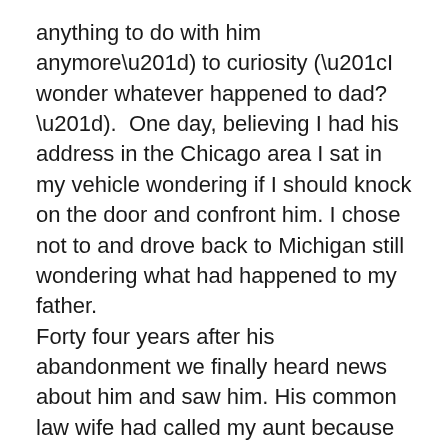anything to do with him anymore”) to curiosity (“I wonder whatever happened to dad?”).  One day, believing I had his address in the Chicago area I sat in my vehicle wondering if I should knock on the door and confront him. I chose not to and drove back to Michigan still wondering what had happened to my father.
Forty four years after his abandonment we finally heard news about him and saw him. His common law wife had called my aunt because he was in the hospital and she thought his first family ought to know what was going on.
So all of my siblings and I traveled to Kentucky for a visit.    Of course I was eager to see him and suddenly it seemed as though there was nothing to be angry about. I just wanted to see my dad again. By the time we drove up to the nursing facility I just wanted to see him, talk to him